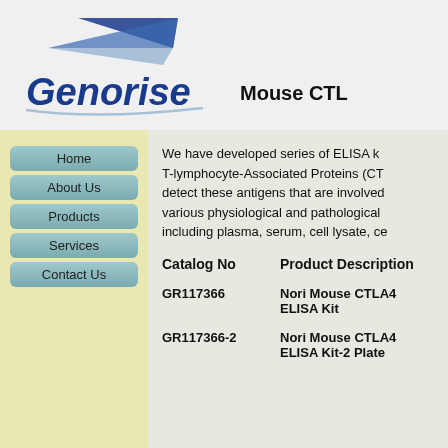[Figure (logo): Genorise company logo with blue triangle/swoosh graphic above italic bold blue text 'Genorise']
Mouse CTL
Home
About Us
Products
Services
Contact Us
We have developed series of ELISA k T-lymphocyte-Associated Proteins (CT detect these antigens that are involved various physiological and pathological including plasma, serum, cell lysate, ce
| Catalog No | Product Description |
| --- | --- |
| GR117366 | Nori Mouse CTLA4 ELISA Kit |
| GR117366-2 | Nori Mouse CTLA4 ELISA Kit-2 Plate |